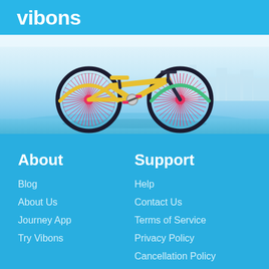vibons
[Figure (illustration): Colorful bicycle with yellow frame, pink/red spoked wheels with starburst effect, riding on a light blue background with city silhouette]
About
Blog
About Us
Journey App
Try Vibons
Support
Help
Contact Us
Terms of Service
Privacy Policy
Cancellation Policy